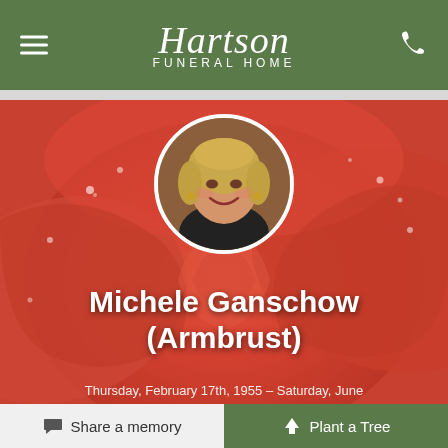Hartson Funeral Home
[Figure (photo): Memorial page for Michele Ganschow (Armbrust) showing a circular portrait photo of a smiling blonde woman overlaid on a close-up photo of an orange/red rose with water droplets. Name displayed in large white bold text.]
Michele Ganschow (Armbrust)
Thursday, February 17th, 1955 – Saturday, June
Share a memory
Plant a Tree